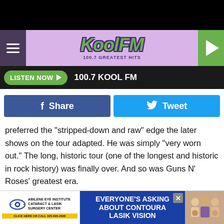[Figure (screenshot): KOOL FM 100.7 Greatest Hits radio station website header with purple background, hamburger menu, logo, and green play button]
[Figure (screenshot): Listen Now button bar with green button and station name 100.7 KOOL FM on dark background]
[Figure (screenshot): Facebook Share and Twitter Tweet social sharing buttons]
preferred the "stripped-down and raw" edge the later shows on the tour adapted. He was simply "very worn out." The long, historic tour (one of the longest and historic in rock history) was finally over. And so was Guns N' Roses' greatest era.
But the story wasn't quite over. In 2016, Slash and McKagan rejoined Rose and Guns N' Roses for a massive world tour that carried over well into the next year, opening a successful
[Figure (screenshot): Advertisement for Abilene Eye Institute Cataract & Lasik Surgery Center with eye logo and Everyone's Asking About Contoura Lasik Vision text]